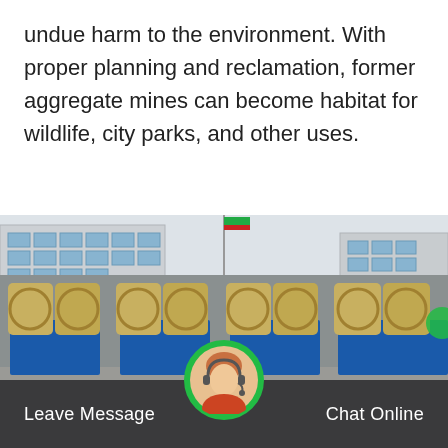undue harm to the environment. With proper planning and reclamation, former aggregate mines can become habitat for wildlife, city parks, and other uses.
[Figure (photo): Industrial aggregate mining/washing machines with large rotating wheel drums in tan/yellow color with blue base units, lined up in a row in an outdoor industrial yard. A factory building is visible in the background on the left, with a flagpole bearing a flag in the center, and another building on the right.]
Leave Message    Chat Online